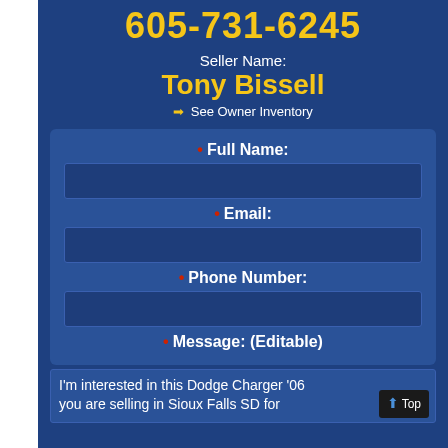605-731-6245
Seller Name:
Tony Bissell
➡ See Owner Inventory
* Full Name:
* Email:
* Phone Number:
* Message: (Editable)
I'm interested in this Dodge Charger '06 you are selling in Sioux Falls SD for